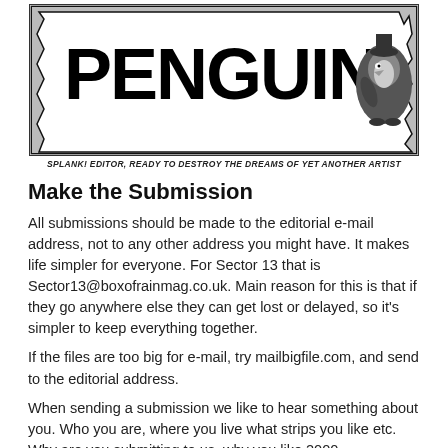[Figure (illustration): Comic-style black and white illustration of a penguin character (editor) with the word PENGUIN in large bold letters on a comic panel background]
SPLANK! EDITOR, READY TO DESTROY THE DREAMS OF YET ANOTHER ARTIST
Make the Submission
All submissions should be made to the editorial e-mail address, not to any other address you might have.  It makes life simpler for everyone.  For Sector 13 that is Sector13@boxofrainmag.co.uk. Main reason for this is that if they go anywhere else they can get lost or delayed, so it's simpler to keep everything together.
If the files are too big for e-mail, try mailbigfile.com, and send to the editorial address.
When sending a submission we like to hear something about you.  Who you are, where you live what strips you like etc.  Why are you submitting to us, why you like 2000